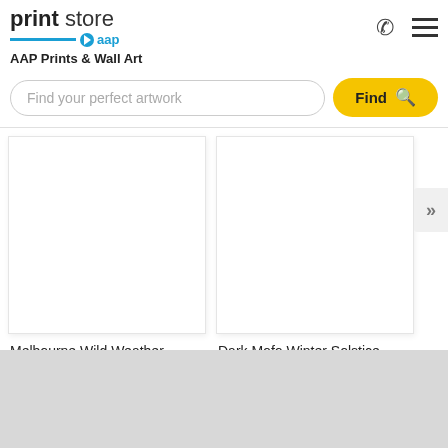[Figure (logo): Print Store AAP logo with blue underline and AAP badge]
AAP Prints & Wall Art
Find your perfect artwork
Find
[Figure (photo): Melbourne Wild Weather product image (white/blank placeholder)]
Melbourne Wild Weather
[Figure (photo): Dark Mofo Winter Solstice Swim Hobart product image (white/blank placeholder)]
Dark Mofo Winter Solstice Swim Hobart